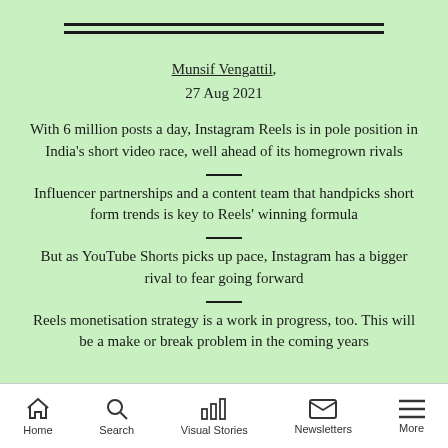[Figure (other): Double horizontal rule decorative divider]
Munsif Vengattil, 27 Aug 2021
With 6 million posts a day, Instagram Reels is in pole position in India's short video race, well ahead of its homegrown rivals
Influencer partnerships and a content team that handpicks short form trends is key to Reels' winning formula
But as YouTube Shorts picks up pace, Instagram has a bigger rival to fear going forward
Reels monetisation strategy is a work in progress, too. This will be a make or break problem in the coming years
Home  Search  Visual Stories  Newsletters  More